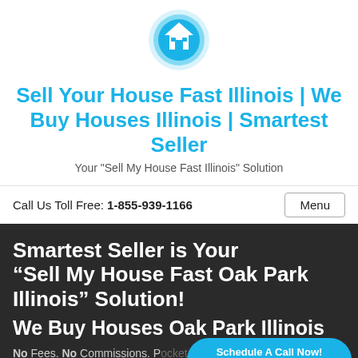[Figure (logo): Circular blue logo with a house icon in white — Smartest Seller real estate company logo]
Sell Your House Fast Illinois | We Buy Houses Illinois | Smartest Seller
Your "Sell My House Fast Illinois" Solution
Call Us Toll Free: 1-855-939-1166
Menu
Smartest Seller is Your “Sell My House Fast Oak Park Illinois” Solution! We Buy Houses Oak Park Illinois
No Fees. No Commissions. Pocket.
Schedule A Call Now! powered by Calendly